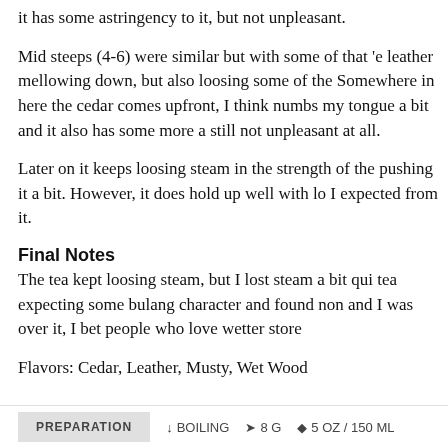it has some astringency to it, but not unpleasant.
Mid steeps (4-6) were similar but with some of that 'e leather mellowing down, but also loosing some of the Somewhere in here the cedar comes upfront, I think numbs my tongue a bit and it also has some more a still not unpleasant at all.
Later on it keeps loosing steam in the strength of the pushing it a bit. However, it does hold up well with lo I expected from it.
Final Notes
The tea kept loosing steam, but I lost steam a bit qui tea expecting some bulang character and found non and I was over it, I bet people who love wetter store
Flavors: Cedar, Leather, Musty, Wet Wood
PREPARATION  ↓ BOILING  ➤ 8 G  ◆ 5 OZ / 150 ML